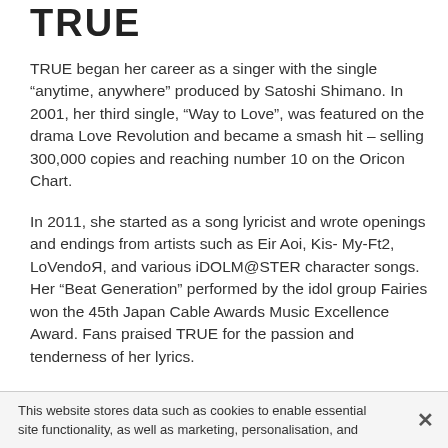TRUE
TRUE began her career as a singer with the single “anytime, anywhere” produced by Satoshi Shimano. In 2001, her third single, “Way to Love”, was featured on the drama Love Revolution and became a smash hit – selling 300,000 copies and reaching number 10 on the Oricon Chart.
In 2011, she started as a song lyricist and wrote openings and endings from artists such as Eir Aoi, Kis-My-Ft2, LoVendoЯ, and various iDOLM@STER character songs. Her “Beat Generation” performed by the idol group Fairies won the 45th Japan Cable Awards Music Excellence Award. Fans praised TRUE for the passion and tenderness of her lyrics.
In 2014, she began working again as the singer. Starting with the opening theme of Buddy Complex, TRUE has been responsible for popular anime themes
This website stores data such as cookies to enable essential site functionality, as well as marketing, personalisation, and